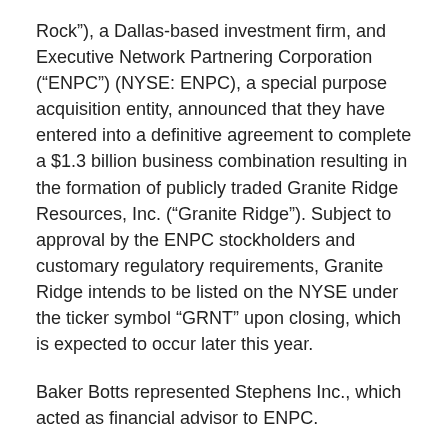Rock”), a Dallas-based investment firm, and Executive Network Partnering Corporation (“ENPC”) (NYSE: ENPC), a special purpose acquisition entity, announced that they have entered into a definitive agreement to complete a $1.3 billion business combination resulting in the formation of publicly traded Granite Ridge Resources, Inc. (“Granite Ridge”). Subject to approval by the ENPC stockholders and customary regulatory requirements, Granite Ridge intends to be listed on the NYSE under the ticker symbol “GRNT” upon closing, which is expected to occur later this year.
Baker Botts represented Stephens Inc., which acted as financial advisor to ENPC.
ENPC’s press release can be found here.
Baker Botts Lawyers/Offices Involved: